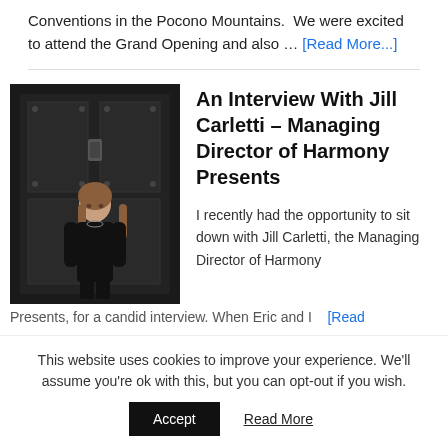Conventions in the Pocono Mountains.  We were excited to attend the Grand Opening and also … [Read More...]
An Interview With Jill Carletti – Managing Director of Harmony Presents
[Figure (photo): A woman in a black dress standing in front of a dark industrial metal door with bolts and hardware]
I recently had the opportunity to sit down with Jill Carletti, the Managing Director of Harmony Presents, for a candid interview. When Eric and I … [Read
This website uses cookies to improve your experience. We'll assume you're ok with this, but you can opt-out if you wish.
Accept  Read More